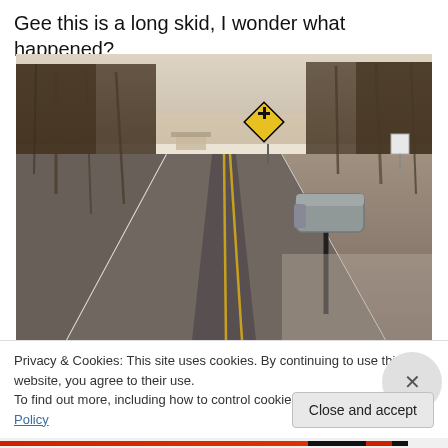Gee this is a long skid, I wonder what happened?
[Figure (photo): A rural two-lane road receding into the distance. A yellow diamond-shaped intersection warning sign is visible in the middle distance. On the right shoulder stands a mailbox on a post. Bare winter trees line both sides. The ground is covered in frost. The scene is photographed at low angle from the roadside at dusk or dawn.]
Privacy & Cookies: This site uses cookies. By continuing to use this website, you agree to their use.
To find out more, including how to control cookies, see here: Cookie Policy